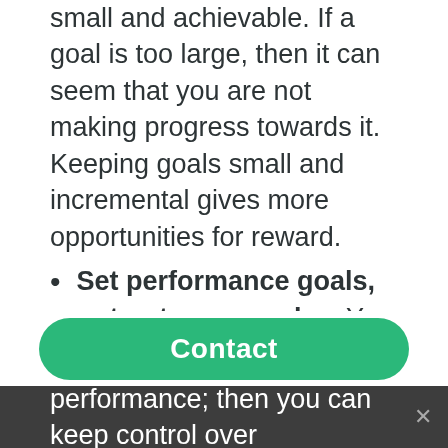small and achievable. If a goal is too large, then it can seem that you are not making progress towards it. Keeping goals small and incremental gives more opportunities for reward.
Set performance goals, not outcome goals – You should take care to set goals over which you have as much control as possible. It can be quite dispiriting to fail to achieve a personal goal for reasons beyond your control!
In business, these reasons could be bad business environments or unexpected effects of government policy. In sport, they could include poor judging, bad weather, injury, or
performance; then you can keep control over